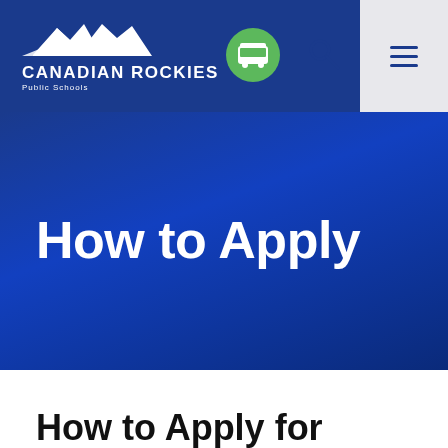CANADIAN ROCKIES Public Schools
How to Apply
How to Apply for